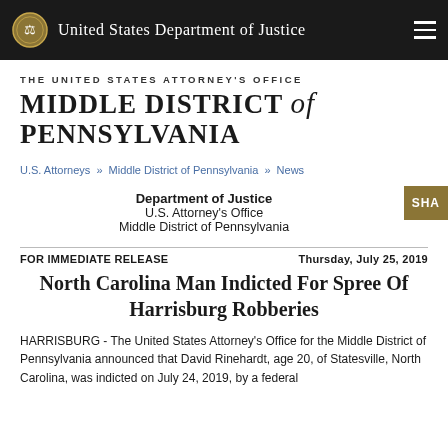United States Department of Justice
THE UNITED STATES ATTORNEY'S OFFICE MIDDLE DISTRICT of PENNSYLVANIA
U.S. Attorneys » Middle District of Pennsylvania » News
Department of Justice
U.S. Attorney's Office
Middle District of Pennsylvania
FOR IMMEDIATE RELEASE
Thursday, July 25, 2019
North Carolina Man Indicted For Spree Of Harrisburg Robberies
HARRISBURG - The United States Attorney's Office for the Middle District of Pennsylvania announced that David Rinehardt, age 20, of Statesville, North Carolina, was indicted on July 24, 2019, by a federal